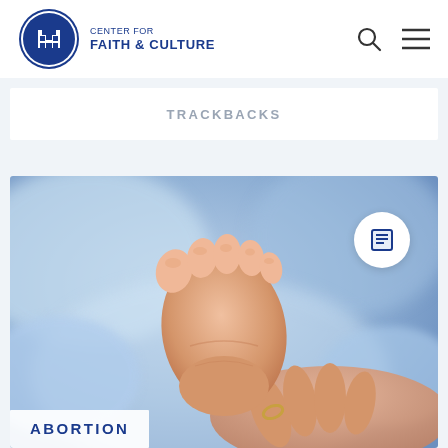CENTER FOR FAITH & CULTURE
TRACKBACKS
[Figure (photo): Close-up photo of a newborn baby's foot being held by an adult hand, with a blurred blue background]
ABORTION